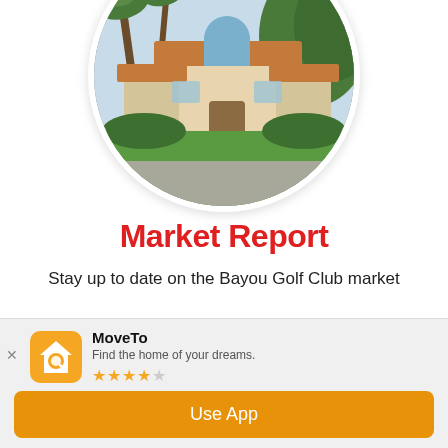[Figure (photo): Circular cropped photo of a luxury Florida-style home with arched entrance, terracotta roof tiles, palm trees, and green lawn]
Market Report
Stay up to date on the Bayou Golf Club market
A little about Bayou Golf Club Estate...
[Figure (screenshot): Mobile app install banner showing MoveTo app icon, name, tagline 'Find the home of your dreams.', 4-star rating, and 'Use App' orange button]